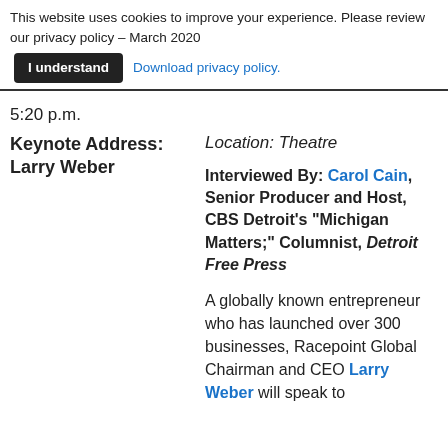This website uses cookies to improve your experience. Please review our privacy policy -- March 2020  [I understand]  Download privacy policy.
5:20 p.m.
Keynote Address: Larry Weber
Location: Theatre
Interviewed By: Carol Cain, Senior Producer and Host, CBS Detroit's "Michigan Matters;" Columnist, Detroit Free Press
A globally known entrepreneur who has launched over 300 businesses, Racepoint Global Chairman and CEO Larry Weber will speak to